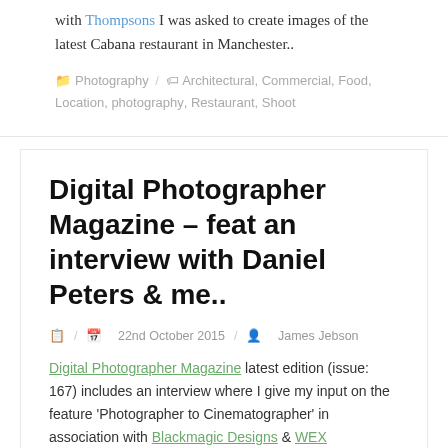with Thompsons I was asked to create images of the latest Cabana restaurant in Manchester..
Photography / Architectural, Commercial, Food, Location, photography, Restaurant, Shoot
Digital Photographer Magazine – feat an interview with Daniel Peters & me..
22nd October 2015 / James Jebson
Digital Photographer Magazine latest edition (issue: 167) includes an interview where I give my input on the feature 'Photographer to Cinematographer' in association with Blackmagic Designs & WEX Photographic..